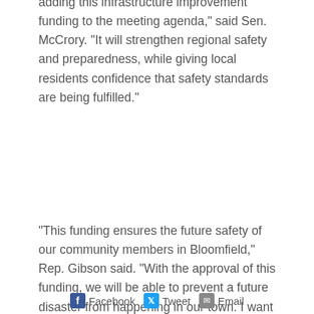adding this infrastructure improvement funding to the meeting agenda," said Sen. McCrory. "It will strengthen regional safety and preparedness, while giving local residents confidence that safety standards are being fulfilled."
“This funding ensures the future safety of our community members in Bloomfield,” Rep. Gibson said. “With the approval of this funding, we will be able to prevent a future disaster from happening in our town. I want to thank Governor Lamont, my delegation members, members of the Bonding Subcommittee, and members of the Bond Commission for recognizing the need to keep Bloomfield safe.”
Facebook  Tweet  Email